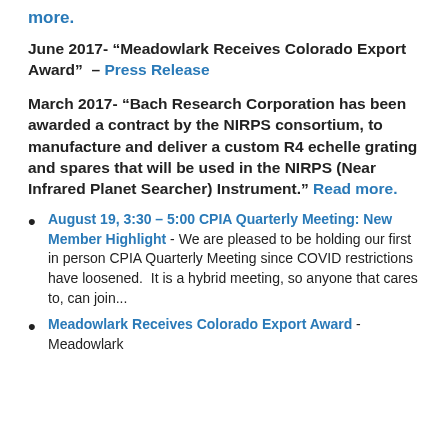more.
June 2017- “Meadowlark Receives Colorado Export Award” – Press Release
March 2017- “Bach Research Corporation has been awarded a contract by the NIRPS consortium, to manufacture and deliver a custom R4 echelle grating and spares that will be used in the NIRPS (Near Infrared Planet Searcher) Instrument.” Read more.
August 19, 3:30 – 5:00 CPIA Quarterly Meeting: New Member Highlight - We are pleased to be holding our first in person CPIA Quarterly Meeting since COVID restrictions have loosened.  It is a hybrid meeting, so anyone that cares to, can join...
Meadowlark Receives Colorado Export Award - Meadowlark